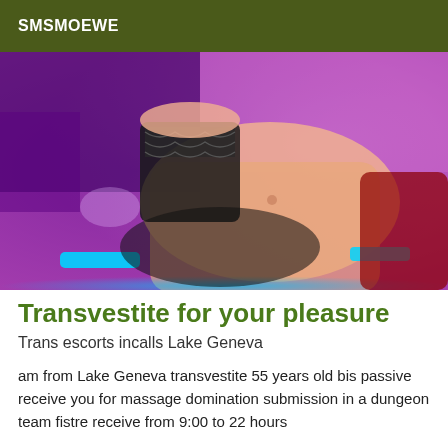SMSMOEWE
[Figure (photo): A person wearing black lace stockings and lingerie, photographed from the torso down in a room with purple and pink lighting.]
Transvestite for your pleasure
Trans escorts incalls Lake Geneva
am from Lake Geneva transvestite 55 years old bis passive receive you for massage domination submission in a dungeon team fistre receive from 9:00 to 22 hours